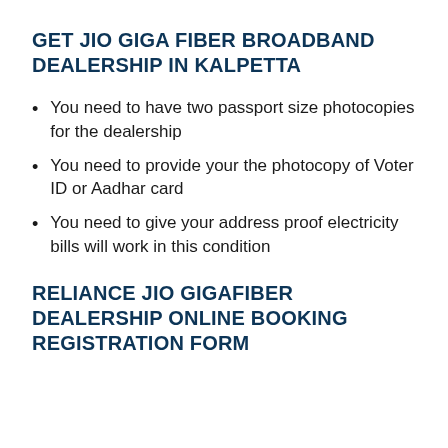GET JIO GIGA FIBER BROADBAND DEALERSHIP IN KALPETTA
You need to have two passport size photocopies for the dealership
You need to provide your the photocopy of Voter ID or Aadhar card
You need to give your address proof electricity bills will work in this condition
RELIANCE JIO GIGAFIBER DEALERSHIP ONLINE BOOKING REGISTRATION FORM